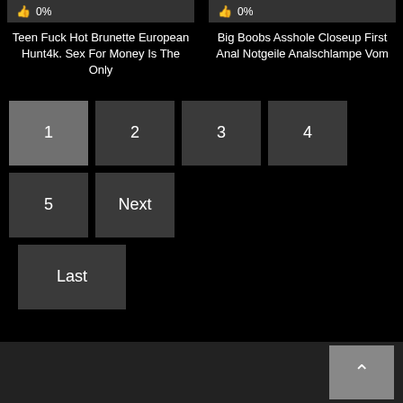0% | Teen Fuck Hot Brunette European Hunt4k. Sex For Money Is The Only
0% | Big Boobs Asshole Closeup First Anal Notgeile Analschlampe Vom
1
2
3
4
5
Next
Last